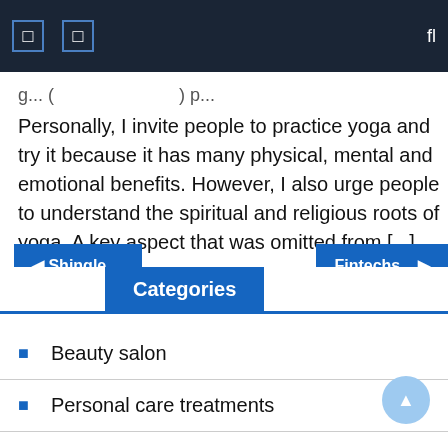g... (...) p...
Personally, I invite people to practice yoga and try it because it has many physical, mental and emotional benefits. However, I also urge people to understand the spiritual and religious roots of yoga. A key aspect that was omitted from [...]
◀ Shingle ...
Fintechs... ▶
Categories
Beauty salon
Personal care treatments
Spa business
Steam room